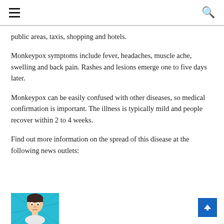≡  🔍
public areas, taxis, shopping and hotels.
Monkeypox symptoms include fever, headaches, muscle ache, swelling and back pain. Rashes and lesions emerge one to five days later.
Monkeypox can be easily confused with other diseases, so medical confirmation is important. The illness is typically mild and people recover within 2 to 4 weeks.
Find out more information on the spread of this disease at the following news outlets:
[Figure (illustration): Cartoon illustration of a person with monkeypox symptoms on a teal/cyan background with radiating lines]